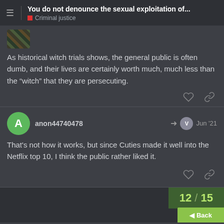You do not denounce the sexual exploitation of... | Criminal justice
As historical witch trials shows, the general public is often dumb, and their lives are certainly worth much, much less than the “witch” that they are persecuting.
anon44740478 Jun '21
That's not how it works, but since Cuties made it well into the Netflix top 10, I think the public rather liked it.
12 / 15